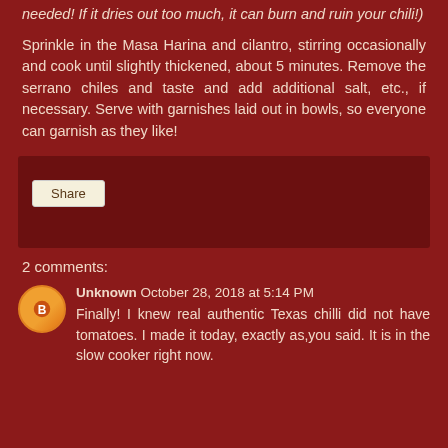needed! If it dries out too much, it can burn and ruin your chili!)
Sprinkle in the Masa Harina and cilantro, stirring occasionally and cook until slightly thickened, about 5 minutes. Remove the serrano chiles and taste and add additional salt, etc., if necessary. Serve with garnishes laid out in bowls, so everyone can garnish as they like!
[Figure (other): Share button box with dark red background]
2 comments:
Unknown October 28, 2018 at 5:14 PM
Finally! I knew real authentic Texas chilli did not have tomatoes. I made it today, exactly as,you said. It is in the slow cooker right now.